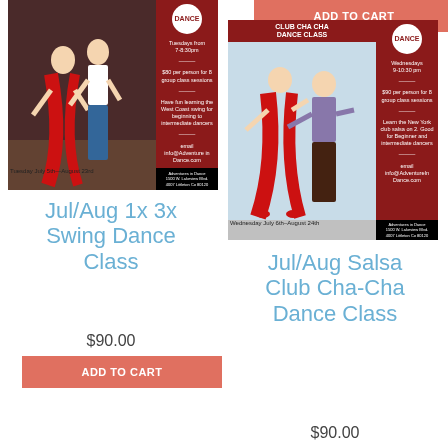[Figure (photo): Swing dance class flyer showing a couple dancing West Coast swing with a red sidebar listing class details: Tuesdays from 7-8:30pm, $90 per person for 8 group class sessions, West Coast swing for beginning to intermediate dancers, email info@adventurein dance.com. Tuesday July 5th – August 23rd.]
[Figure (photo): Salsa Club Cha-Cha dance class flyer showing a couple dancing salsa/cha-cha with a red sidebar: Wednesdays 9-10:30pm, $90 per person for 8 group class sessions, New York club salsa on 2, good for beginner and intermediate dancers, email info@adventureindance.com. Wednesday July 6th–August 24th.]
ADD TO CART
Jul/Aug 1x 3x Swing Dance Class
$90.00
ADD TO CART
Jul/Aug Salsa Club Cha-Cha Dance Class
$90.00